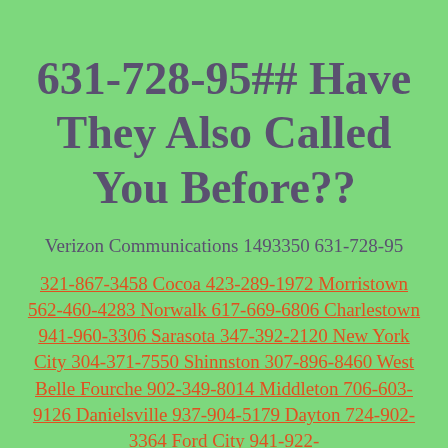631-728-95## Have They Also Called You Before??
Verizon Communications 1493350 631-728-95
321-867-3458 Cocoa 423-289-1972 Morristown 562-460-4283 Norwalk 617-669-6806 Charlestown 941-960-3306 Sarasota 347-392-2120 New York City 304-371-7550 Shinnston 307-896-8460 West Belle Fourche 902-349-8014 Middleton 706-603-9126 Danielsville 937-904-5179 Dayton 724-902-3364 Ford City 941-922-...